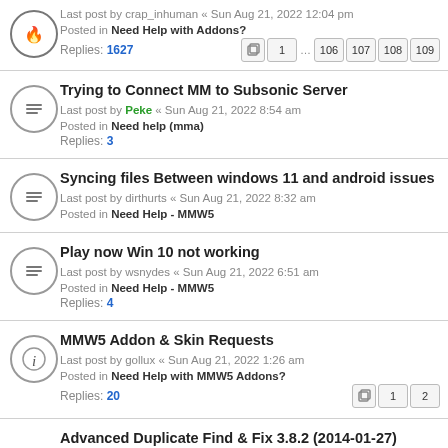Last post by crap_inhuman « Sun Aug 21, 2022 12:04 pm
Posted in Need Help with Addons?
Replies: 1627
Pages: 1 ... 106 107 108 109
Trying to Connect MM to Subsonic Server
Last post by Peke « Sun Aug 21, 2022 8:54 am
Posted in Need help (mma)
Replies: 3
Syncing files Between windows 11 and android issues
Last post by dirthurts « Sun Aug 21, 2022 8:32 am
Posted in Need Help - MMW5
Play now Win 10 not working
Last post by wsnydes « Sun Aug 21, 2022 6:51 am
Posted in Need Help - MMW5
Replies: 4
MMW5 Addon & Skin Requests
Last post by gollux « Sun Aug 21, 2022 1:26 am
Posted in Need Help with MMW5 Addons?
Replies: 20
Pages: 1 2
Advanced Duplicate Find & Fix 3.8.2 (2014-01-27)